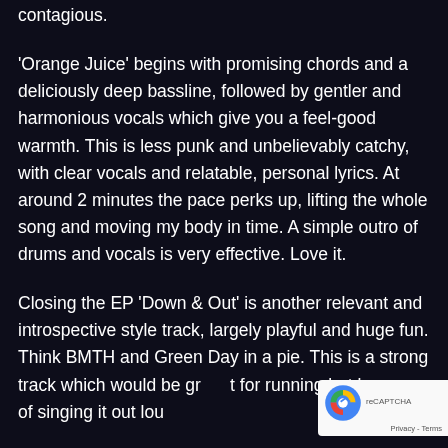contagious.
'Orange Juice' begins with promising chords and a deliciously deep bassline, followed by gentler and harmonious vocals which give you a feel-good warmth. This is less punk and unbelievably catchy, with clear vocals and relatable, personal lyrics. At around 2 minutes the pace perks up, lifting the whole song and moving my body in time. A simple outro of drums and vocals is very effective. Love it.
Closing the EP 'Down & Out' is another relevant and introspective style track, largely playful and huge fun. Think BMTH and Green Day in a pie. This is a strong track which would be great for running but beware of singing it out loud
[Figure (other): reCAPTCHA badge with logo and Privacy - Terms text]